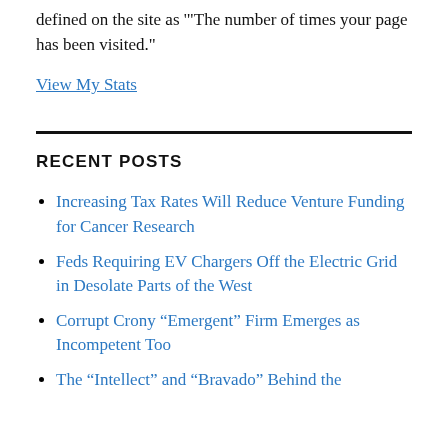defined on the site as "The number of times your page has been visited."
View My Stats
RECENT POSTS
Increasing Tax Rates Will Reduce Venture Funding for Cancer Research
Feds Requiring EV Chargers Off the Electric Grid in Desolate Parts of the West
Corrupt Crony “Emergent” Firm Emerges as Incompetent Too
The “Intellect” and “Bravado” Behind the